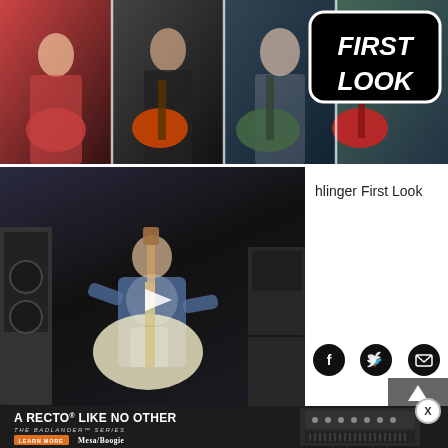[Figure (photo): Top banner showing multiple guitarists in collage format with 'FIRST LOOK' logo badge on dark background]
[Figure (screenshot): Video thumbnail showing a person playing electric guitar in a room with amplifiers, with a play button overlay and 'FIRST LOOK |' bar at bottom]
hlinger First Look
[Figure (infographic): Advertisement for Mesa/Boogie Badlander Series amplifier. Text: 'A RECTO® LIKE NO OTHER', 'THE BADLANDER™ SERIES', 'LEARN MORE', 'MESA/BOOGIE'. Shows amplifier head and guitar.]
PRE